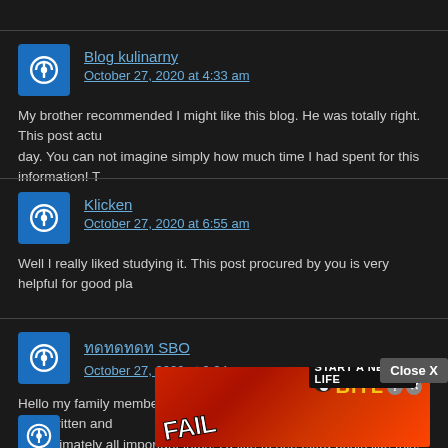Blog kulinarny
October 27, 2020 at 4:33 am
My brother recommended I might like this blog. He was totally right. This post actu day. You can not imagine simply how much time I had spent for this information! T
Klicken
October 27, 2020 at 6:55 am
Well I really liked studying it. This post procured by you is very helpful for good pla
ทดทดทดท SBO
October 27, 2020 at 9:04 am
Hello my family member! I wish to say that this post is awesome, nice written and approximately all important infos. I'd like to see extra posts like this.
[Figure (screenshot): Advertisement banner for BitLife game showing FAIL text with cartoon character, flames, BitLife logo, and 'START A NEW LIFE' button. Close X button visible above.]